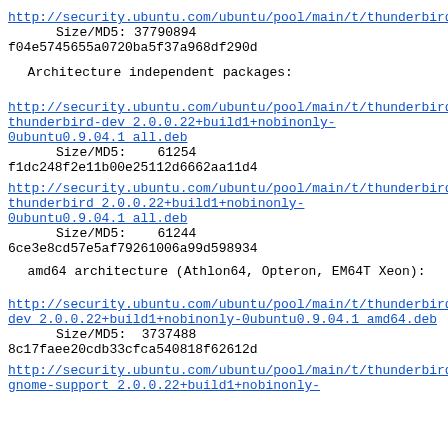http://security.ubuntu.com/ubuntu/pool/main/t/thunderbird... Size/MD5: 37790894 f04e5745655a0720ba5f37a968df290d
Architecture independent packages:
http://security.ubuntu.com/ubuntu/pool/main/t/thunderbird/thunderbird-dev_2.0.0.22+build1+nobinonly-0ubuntu0.9.04.1_all.deb Size/MD5: 61254 f1dc248f2e11b00e25112d6662aa11d4
http://security.ubuntu.com/ubuntu/pool/main/t/thunderbird/thunderbird_2.0.0.22+build1+nobinonly-0ubuntu0.9.04.1_all.deb Size/MD5: 61244 6ce3e8cd57e5af79261006a99d598934
amd64 architecture (Athlon64, Opteron, EM64T Xeon):
http://security.ubuntu.com/ubuntu/pool/main/t/thunderbird/dev_2.0.0.22+build1+nobinonly-0ubuntu0.9.04.1_amd64.deb Size/MD5: 3737488 8c17faee20cdb33cfca540818f62612d
http://security.ubuntu.com/ubuntu/pool/main/t/thunderbird/gnome-support_2.0.0.22+build1+nobinonly-